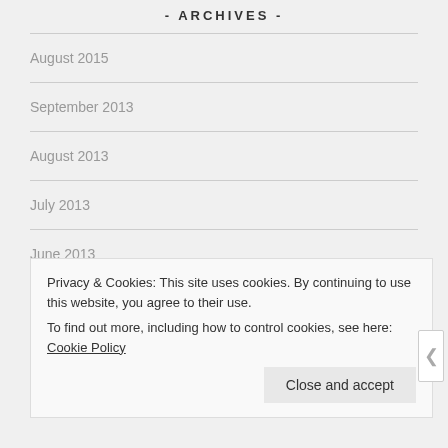- ARCHIVES -
August 2015
September 2013
August 2013
July 2013
June 2013
April 2013
Privacy & Cookies: This site uses cookies. By continuing to use this website, you agree to their use.
To find out more, including how to control cookies, see here: Cookie Policy
Close and accept